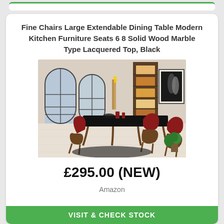Fine Chairs Large Extendable Dining Table Modern Kitchen Furniture Seats 6 8 Solid Wood Marble Type Lacquered Top, Black
[Figure (photo): A dining room scene showing a black extendable dining table with red upholstered chairs with wooden legs, set in a bright room with arched windows, a bookcase, and wall art.]
£295.00 (NEW)
Amazon
VISIT & CHECK STOCK